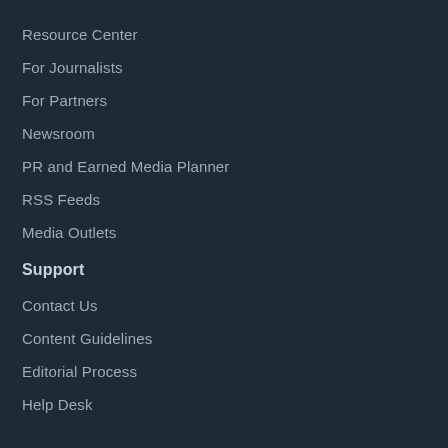Resource Center
For Journalists
For Partners
Newsroom
PR and Earned Media Planner
RSS Feeds
Media Outlets
Support
Contact Us
Content Guidelines
Editorial Process
Help Desk